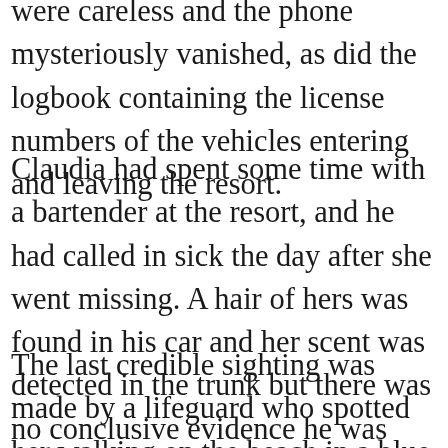were careless and the phone mysteriously vanished, as did the logbook containing the license numbers of the vehicles entering and leaving the resort.
Claudia had spent some time with a bartender at the resort, and he had called in sick the day after she went missing. A hair of hers was found in his car and her scent was detected in the trunk but there was no conclusive evidence he was guilty, so he never became a suspect.
The last credible sighting was made by a lifeguard who spotted her walking on the beach in a blue bikini. Her parents felt both the hotel chain and the police mishandled evidence, so it could be a vital clue was